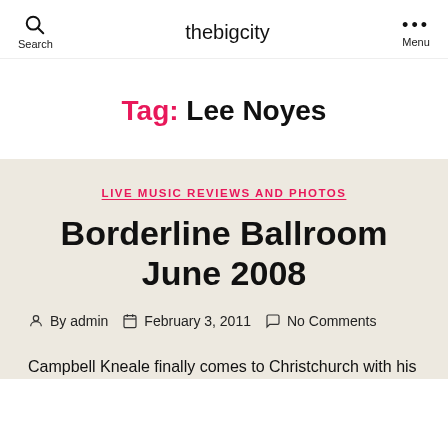thebigcity
Tag: Lee Noyes
LIVE MUSIC REVIEWS AND PHOTOS
Borderline Ballroom June 2008
By admin  February 3, 2011  No Comments
Campbell Kneale finally comes to Christchurch with his